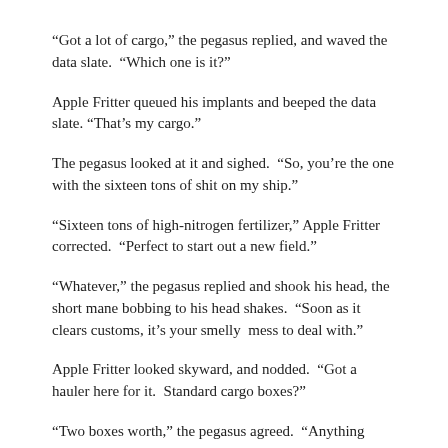“Got a lot of cargo,” the pegasus replied, and waved the data slate.  “Which one is it?”
Apple Fritter queued his implants and beeped the data slate.  “That’s my cargo.”
The pegasus looked at it and sighed.  “So, you’re the one with the sixteen tons of shit on my ship.”
“Sixteen tons of high-nitrogen fertilizer,” Apple Fritter corrected.  “Perfect to start out a new field.”
“Whatever,” the pegasus replied and shook his head, the short mane bobbing to his head shakes.  “Soon as it clears customs, it’s your smelly  mess to deal with.”
Apple Fritter looked skyward, and nodded.  “Got a hauler here for it.  Standard cargo boxes?”
“Two boxes worth,” the pegasus agreed.  “Anything else?”